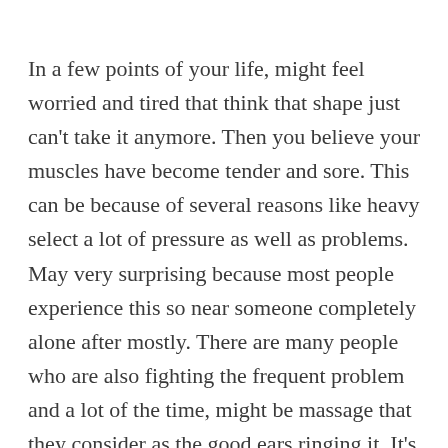In a few points of your life, might feel worried and tired that think that shape just can't take it anymore. Then you believe your muscles have become tender and sore. This can be because of several reasons like heavy select a lot of pressure as well as problems. May very surprising because most people experience this so near someone completely alone after mostly. There are many people who are also fighting the frequent problem and a lot of the time, might be massage that they consider as the good ears ringing it. It's true that massage can somehow reduce the stress and help you feel relaxed but there are times really want to obtain a massage and you just can't. Thats usually where a robotic massage